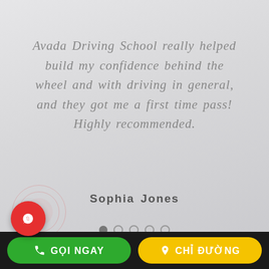Avada Driving School really helped build my confidence behind the wheel and with driving in general, and they got me a first time pass! Highly recommended.
Sophia Jones
[Figure (other): Carousel pagination dots: one filled dot followed by four empty circle dots]
[Figure (other): WhatsApp floating call button — red circular button with phone/WhatsApp icon, with ripple ring effect behind it]
GỌI NGAY
CHỈ ĐƯỜNG